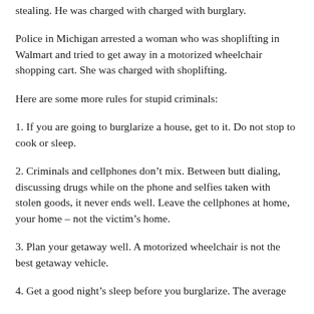stealing. He was charged with charged with burglary.
Police in Michigan arrested a woman who was shoplifting in Walmart and tried to get away in a motorized wheelchair shopping cart. She was charged with shoplifting.
Here are some more rules for stupid criminals:
1. If you are going to burglarize a house, get to it. Do not stop to cook or sleep.
2. Criminals and cellphones don’t mix. Between butt dialing, discussing drugs while on the phone and selfies taken with stolen goods, it never ends well. Leave the cellphones at home, your home – not the victim’s home.
3. Plan your getaway well. A motorized wheelchair is not the best getaway vehicle.
4. Get a good night’s sleep before you burglarize. The average